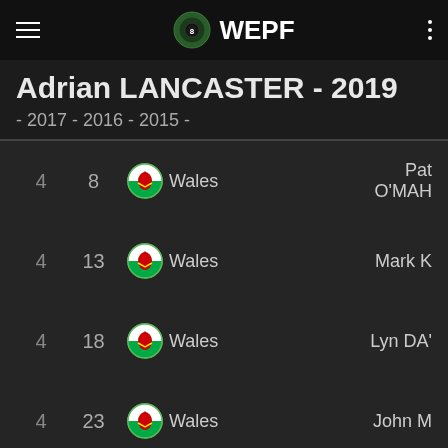WEPF
Adrian LANCASTER - 2019
- 2017 - 2016 - 2015 -
| # | Score | Flag | Country | Opponent |
| --- | --- | --- | --- | --- |
| 4 | 8 | Wales flag | Wales | Pat O'MAH |
| 4 | 13 | Wales flag | Wales | Mark K |
| 4 | 18 | Wales flag | Wales | Lyn DA' |
| 4 | 23 | Wales flag | Wales | John M |
| 5 | 3 | South Africa flag | South Africa | Mark WILSN/ |